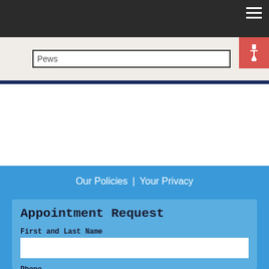Navigation menu header bar
Pews
Our Policies | Your Privacy
Appointment Request
First and Last Name
Phone
E-Mail Address